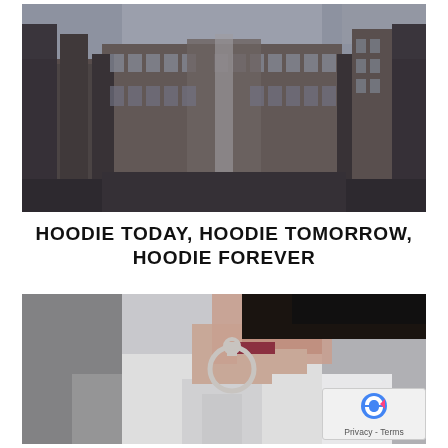[Figure (photo): Upward-angle photograph of a large classical stone building with tall columns, multiple floors of windows, and a pale sky. The building has brownish-grey stone facades and a grand architectural style.]
HOODIE TODAY, HOODIE TOMORROW, HOODIE FOREVER
[Figure (photo): Close-up photograph of a woman's profile/side face wearing a large circular geometric hoop earring made of silver metal. She has dark hair pulled back and is wearing a white or light grey hoodie. The background is blurred urban scenery.]